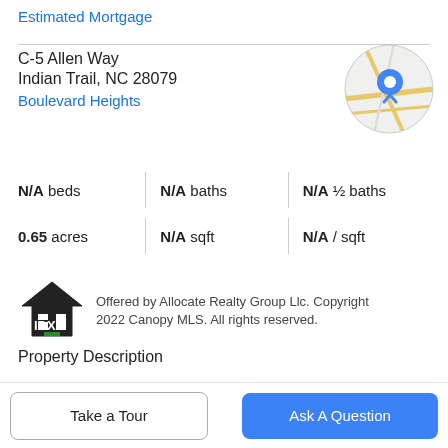Estimated Mortgage
C-5 Allen Way
Indian Trail, NC 28079
Boulevard Heights
[Figure (map): Circular map thumbnail showing a location pin on a street map]
N/A beds | N/A baths | N/A ½ baths
0.65 acres | N/A sqft | N/A / sqft
[Figure (logo): IDX house logo]
Offered by Allocate Realty Group Llc. Copyright 2022 Canopy MLS. All rights reserved.
Property Description
Beautiful .65 acre lot with NO HOA!!! This Indian Trail lot is located in a cul-de-sac and is under a mile to shopping, grocery stores and restaurants. If you are looking to build...
Take a Tour
Ask A Question